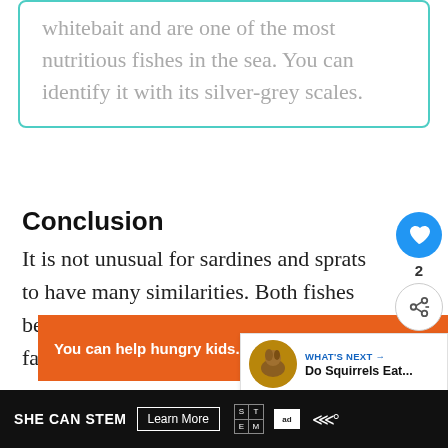whitebait and are one of the most nutritious fishes in the sea. You can identify it with its silver-grey scales.
Conclusion
It is not unusual for sardines and sprats to have many similarities. Both fishes belong to the same family (Clupeidae family).
[Figure (screenshot): Social sidebar with heart button (blue circle with heart icon), count of 2, and share button (circle with share icon)]
[Figure (screenshot): What's Next panel with squirrel thumbnail image, label 'WHAT'S NEXT →' and title 'Do Squirrels Eat...']
[Figure (screenshot): Orange advertisement banner: 'You can help hungry kids. NO KID HUNGRY [fork icon] LEARN HOW button']
SHE CAN STEM  Learn More  [STEM grid logo] [ad council logo] [wave logo]